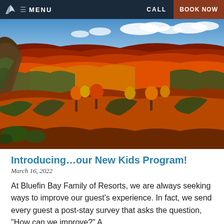MENU   CALL   BOOK NOW
[Figure (photo): Aerial view of a vast autumn forest with vivid red, orange, yellow, and green foliage under a blue sky with clouds; a small lake is visible in the distance between rolling hillsides covered in fall color.]
Introducing…our New Kids Program!
March 16, 2022
At Bluefin Bay Family of Resorts, we are always seeking ways to improve our guest's experience. In fact, we send every guest a post-stay survey that asks the question, "How can we improve?" A